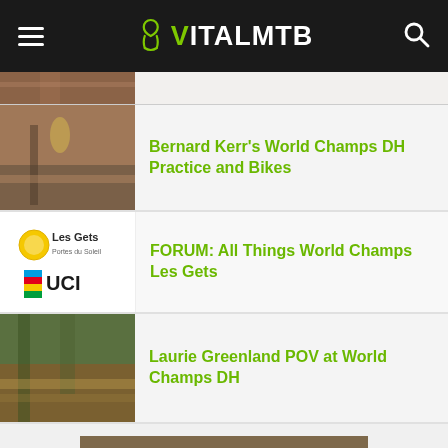VITALMTB
[Figure (photo): Partial mountain bike trail photo thumbnail (top, cropped)]
[Figure (photo): Mountain bike downhill trail thumbnail image]
Bernard Kerr's World Champs DH Practice and Bikes
[Figure (logo): Les Gets and UCI logo thumbnails for forum post]
FORUM: All Things World Champs Les Gets
[Figure (photo): Mountain bike downhill POV trail thumbnail]
Laurie Greenland POV at World Champs DH
[Figure (photo): VitalMTB branded merchandise including a grey snapback hat with VitalMTB logo, mechanic's brush set, striped socks, and handlebar grips on a wooden background]